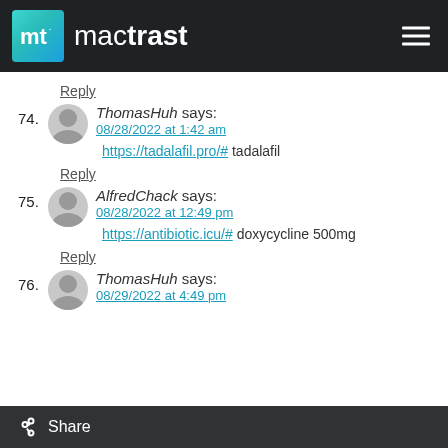mactrast
Reply
74. ThomasHuh says:
08/28/2022 at 1:42 am
https://tadalafil.pro/# tadalafil
Reply
75. AlfredChack says:
08/28/2022 at 12:49 pm
https://antibiotic.icu/# doxycycline 500mg
Reply
76. ThomasHuh says:
08/29/2022 at 4:49 pm